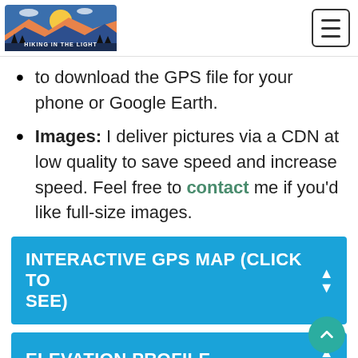HIKING IN THE LIGHT — navigation header with logo and hamburger menu
to download the GPS file for your phone or Google Earth.
Images: I deliver pictures via a CDN at low quality to save speed and increase speed. Feel free to contact me if you'd like full-size images.
INTERACTIVE GPS MAP (CLICK TO SEE)
ELEVATION PROFILE